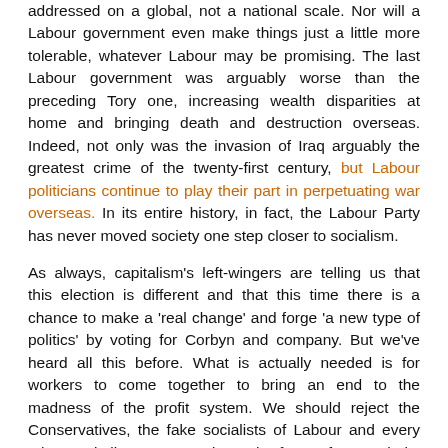addressed on a global, not a national scale. Nor will a Labour government even make things just a little more tolerable, whatever Labour may be promising. The last Labour government was arguably worse than the preceding Tory one, increasing wealth disparities at home and bringing death and destruction overseas. Indeed, not only was the invasion of Iraq arguably the greatest crime of the twenty-first century, but Labour politicians continue to play their part in perpetuating war overseas. In its entire history, in fact, the Labour Party has never moved society one step closer to socialism.
As always, capitalism's left-wingers are telling us that this election is different and that this time there is a chance to make a 'real change' and forge 'a new type of politics' by voting for Corbyn and company. But we've heard all this before. What is actually needed is for workers to come together to bring an end to the madness of the profit system. We should reject the Conservatives, the fake socialists of Labour and every other capitalist party – and use the force of our majority to abolish capitalism. No leader required. But we don't have forever to get the job done...